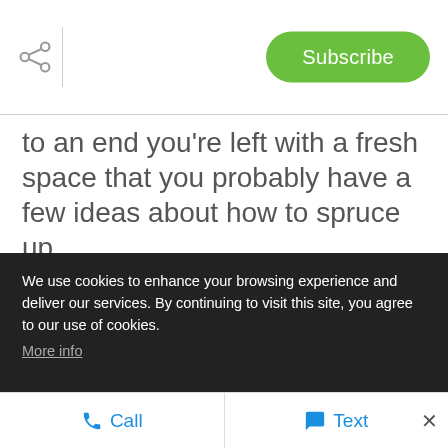Share | Subscribe
to an end you're left with a fresh space that you probably have a few ideas about how to spruce up.
Home improvement projects don't have to be expensive or time-consuming to be beneficial. In fact, many of the simplest home improvement projects can also have the most positive impact on your home, whether you want
We use cookies to enhance your browsing experience and deliver our services. By continuing to visit this site, you agree to our use of cookies. More info
Call   Text